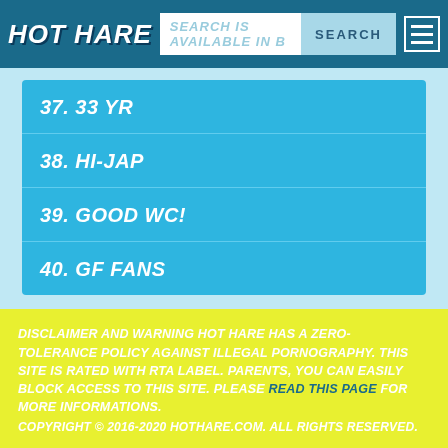HOT HARE | SEARCH IS AVAILABLE IN B | SEARCH
37. 33 YR
38. HI-JAP
39. GOOD WC!
40. GF FANS
DISCLAIMER AND WARNING HOT HARE HAS A ZERO-TOLERANCE POLICY AGAINST ILLEGAL PORNOGRAPHY. THIS SITE IS RATED WITH RTA LABEL. PARENTS, YOU CAN EASILY BLOCK ACCESS TO THIS SITE. PLEASE READ THIS PAGE FOR MORE INFORMATIONS.
COPYRIGHT © 2016-2020 HOTHARE.COM. ALL RIGHTS RESERVED.